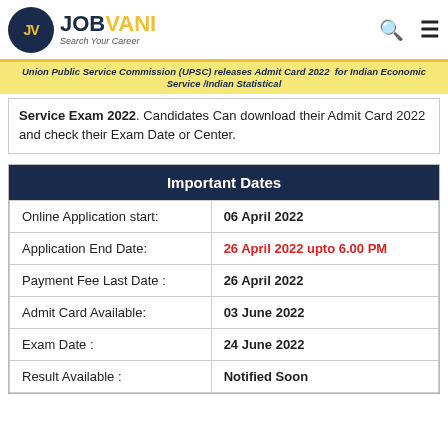JV JOBVANI Search Your Career
Union Public Service Commission (UPSC) releases Admit Card 2022 for Indian Economic Service /Indian Statistical Service Exam 2022. Candidates Can download their Admit Card 2022 and check their Exam Date or Center.
| Important Dates |  |
| --- | --- |
| Online Application start: | 06 April 2022 |
| Application End Date: | 26 April 2022 upto 6.00 PM |
| Payment Fee Last Date : | 26 April 2022 |
| Admit Card Available: | 03 June 2022 |
| Exam Date : | 24 June 2022 |
| Result Available : | Notified Soon |